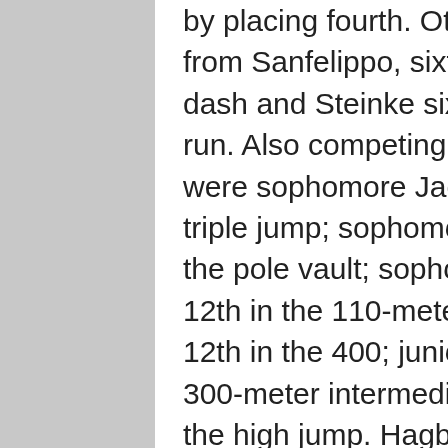by placing fourth. Other points for FC came from Sanfelippo, sixth in the 400-meter dash and Steinke sixth in the 800-meter run. Also competing for FC in the boys meet were sophomore Jacob Wathke, 10th in the triple jump; sophomore Levi Atkins, 10th in the pole vault; sophomore Isaac Steinke, 12th in the 110-meter high hurdles; Gundry, 12th in the 400; junior Eli Laube, 11th in the 300-meter intermediate hurdles and 10th in the high jump. Hagberg also finished 12th in the long jump and Kleinhans finished 12th in the 800.
For the Fall Creek girls team to have a shot at the sectional they needed junior runner Jenna Anders to have big day on the track and she did so. She won the sectional title in the 1600-meter run in 5:20.97, took second in the 800 and helped the 3200-meter relay team take second as well, a grand total of 26 points